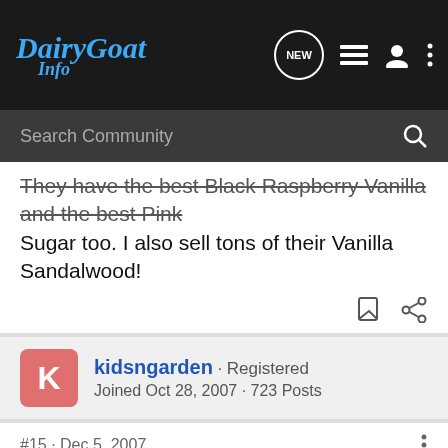[Figure (logo): DairyGoat Info logo in blue italic script on dark background with navigation icons]
Search Community
They have the best Black Raspberry Vanilla and the best Pink Sugar too. I also sell tons of their Vanilla Sandalwood!
kidsngarden · Registered
Joined Oct 28, 2007 · 723 Posts
#15 · Dec 5, 2007
I've never had any experience with IFt so I would not know about running a coop on that, but would be interested in participating.
[Figure (other): GroundOS advertisement banner - Built by Land Brokers for Land Brokers, Click to Learn More]
I am clo... nting this...